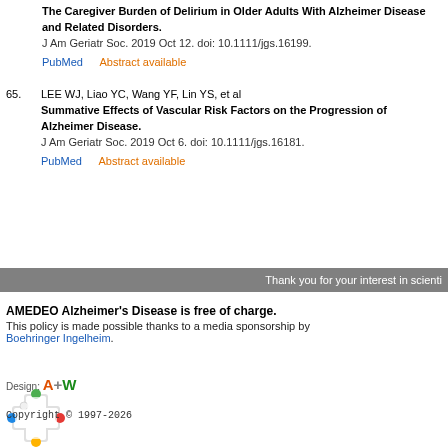The Caregiver Burden of Delirium in Older Adults With Alzheimer Disease and Related Disorders. J Am Geriatr Soc. 2019 Oct 12. doi: 10.1111/jgs.16199. PubMed    Abstract available
65. LEE WJ, Liao YC, Wang YF, Lin YS, et al Summative Effects of Vascular Risk Factors on the Progression of Alzheimer Disease. J Am Geriatr Soc. 2019 Oct 6. doi: 10.1111/jgs.16181. PubMed    Abstract available
Thank you for your interest in scienti
AMEDEO Alzheimer's Disease is free of charge. This policy is made possible thanks to a media sponsorship by Boehringer Ingelheim.
Design: A+W
[Figure (logo): Colorful medical cross logo with colored dots at tips]
Copyright © 1997-2026